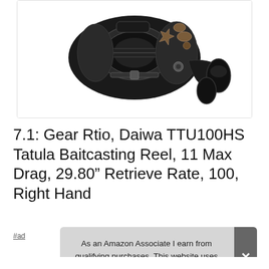[Figure (photo): A black baitcasting fishing reel (Daiwa TTU100HS Tatula) shown from the side, displaying the handle, frame, and mechanical components against a white background.]
7.1: Gear Rtio, Daiwa TTU100HS Tatula Baitcasting Reel, 11 Max Drag, 29.80” Retrieve Rate, 100, Right Hand
#ad
As an Amazon Associate I earn from qualifying purchases. This website uses the only necessary cookies to ensure you get the best experience on our website. More information